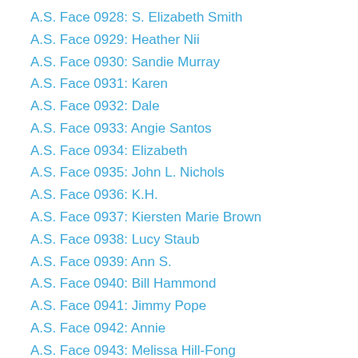A.S. Face 0928: S. Elizabeth Smith
A.S. Face 0929: Heather Nii
A.S. Face 0930: Sandie Murray
A.S. Face 0931: Karen
A.S. Face 0932: Dale
A.S. Face 0933: Angie Santos
A.S. Face 0934: Elizabeth
A.S. Face 0935: John L. Nichols
A.S. Face 0936: K.H.
A.S. Face 0937: Kiersten Marie Brown
A.S. Face 0938: Lucy Staub
A.S. Face 0939: Ann S.
A.S. Face 0940: Bill Hammond
A.S. Face 0941: Jimmy Pope
A.S. Face 0942: Annie
A.S. Face 0943: Melissa Hill-Fong
A.S. Face 0944: Hilary
A.S. Face 0945: Stephanie
A.S. Face 0946: Lynda Little
A.S. Face 0947: Karolyn Ellis